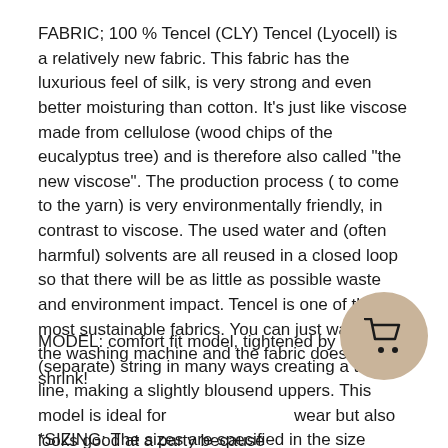FABRIC; 100 % Tencel (CLY) Tencel (Lyocell) is a relatively new fabric. This fabric has the luxurious feel of silk, is very strong and even better moisturing than cotton. It's just like viscose made from cellulose (wood chips of the eucalyptus tree) and is therefore also called "the new viscose". The production process ( to come to the yarn) is very environmentally friendly, in contrast to viscose. The used water and (often harmful) solvents are all reused in a closed loop so that there will be as little as possible waste and environment impact. Tencel is one of the most sustainable fabrics. You can just wash it in the washing machine and the fabric doesn't shrink!
MODEL: comfort fit model, tightened by (separate) string in many ways creating a tailored line, making a slightly blousend uppers. This model is ideal for wear but also looks good at a party because of beautiful glossy and supple fabric.
*SIZING: The sizes are specified in the size chart...